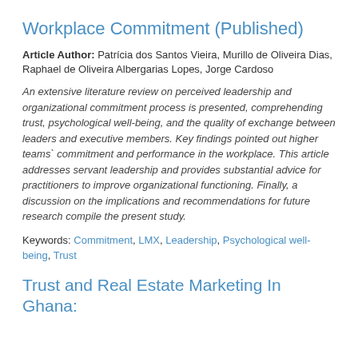Workplace Commitment (Published)
Article Author: Patrícia dos Santos Vieira, Murillo de Oliveira Dias, Raphael de Oliveira Albergarias Lopes, Jorge Cardoso
An extensive literature review on perceived leadership and organizational commitment process is presented, comprehending trust, psychological well-being, and the quality of exchange between leaders and executive members. Key findings pointed out higher teams` commitment and performance in the workplace. This article addresses servant leadership and provides substantial advice for practitioners to improve organizational functioning. Finally, a discussion on the implications and recommendations for future research compile the present study.
Keywords: Commitment, LMX, Leadership, Psychological well-being, Trust
Trust and Real Estate Marketing In Ghana: